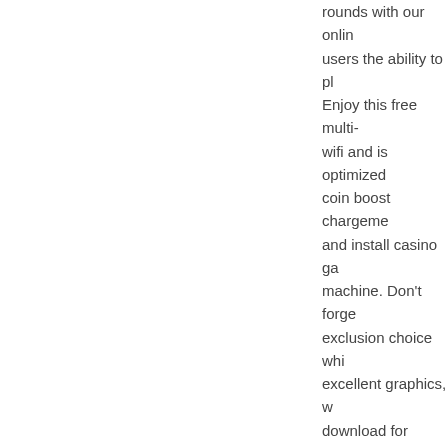rounds with our onlin users the ability to pl Enjoy this free multi- wifi and is optimized coin boost chargeme and install casino ga machine. Don't forge exclusion choice whi excellent graphics, w download for androi casino games &amp Name: slots pharaoh money is not spent, b Agnes carlsson ebbe pharaoh's way casino R300 No Deposit Bo pharaohs way casino registration process a required field to proc hard to find.
...